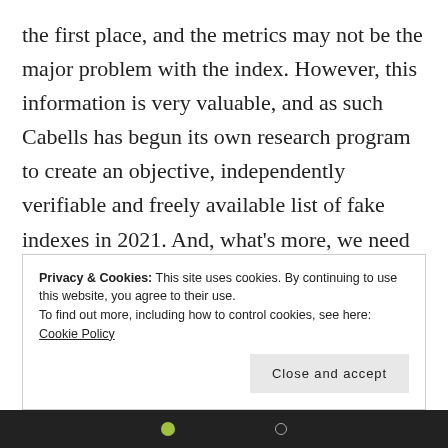the first place, and the metrics may not be the major problem with the index. However, this information is very valuable, and as such Cabells has begun its own research program to create an objective, independently verifiable and freely available list of fake indexes in 2021. And, what's more, we need your help – if anyone would like to suggest we look into a suspicious looking journal index, please write to me at simon.linacre@cabells.com and we will review the
Privacy & Cookies: This site uses cookies. By continuing to use this website, you agree to their use. To find out more, including how to control cookies, see here: Cookie Policy
Close and accept